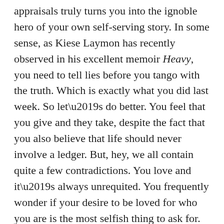appraisals truly turns you into the ignoble hero of your own self-serving story. In some sense, as Kiese Laymon has recently observed in his excellent memoir Heavy, you need to tell lies before you tango with the truth. Which is exactly what you did last week. So let’s do better. You feel that you give and they take, despite the fact that you also believe that life should never involve a ledger. But, hey, we all contain quite a few contradictions. You love and it’s always unrequited. You frequently wonder if your desire to be loved for who you are is the most selfish thing to ask for. You ask for favors once in a cerulean moon yet there’s always some camarera gently placing the onyx check presenter upon your mesa. You’re tired of paying your dues, but there’s no other choice. Men who have done far worse things than you are alleged to have committed are allowed to write cover stories for...